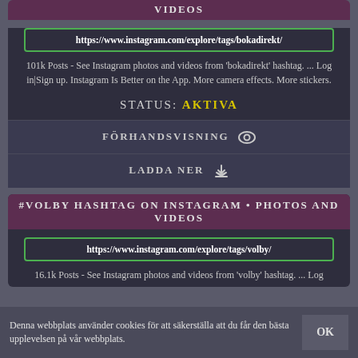VIDEOS
https://www.instagram.com/explore/tags/bokadirekt/
101k Posts - See Instagram photos and videos from 'bokadirekt' hashtag. ... Log in|Sign up. Instagram Is Better on the App. More camera effects. More stickers.
STATUS: AKTIVA
FÖRHANDSVISNING
LADDA NER
#VOLBY HASHTAG ON INSTAGRAM • PHOTOS AND VIDEOS
https://www.instagram.com/explore/tags/volby/
16.1k Posts - See Instagram photos and videos from 'volby' hashtag. ... Log
Denna webbplats använder cookies för att säkerställa att du får den bästa upplevelsen på vår webbplats.